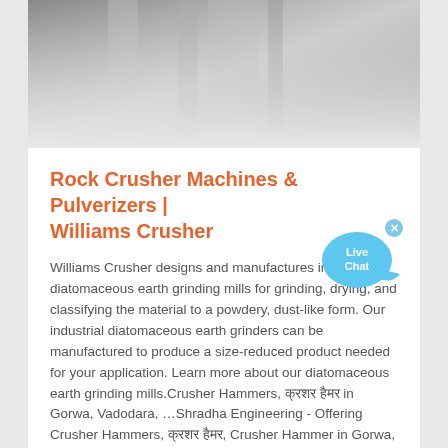[Figure (photo): Grayscale photo of industrial machinery or crusher equipment, fading out at the bottom]
Rock Crusher Machines & Pulverizers | Williams Crusher
Williams Crusher designs and manufactures innovative diatomaceous earth grinding mills for grinding, drying, and classifying the material to a powdery, dust-like form. Our industrial diatomaceous earth grinders can be manufactured to produce a size-reduced product needed for your application. Learn more about our diatomaceous earth grinding mills.Crusher Hammers, क्रशर हैमर in Gorwa, Vadodara, …Shradha Engineering - Offering Crusher Hammers, क्रशर हैमर, Crusher Hammer in Gorwa, Vadodara, Gujarat. Read about company. Get contact details and address| ID: 8598162530
[Figure (illustration): Live Chat speech bubble icon in blue with fish tail shape and close button]